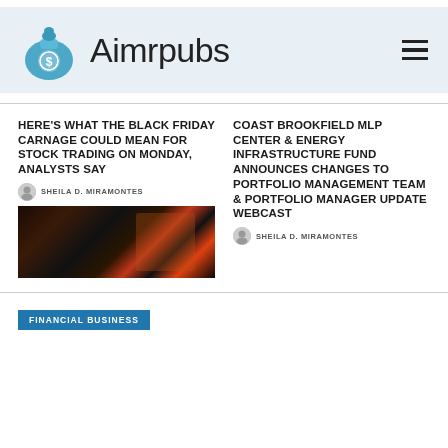[Figure (logo): Aimrpubs logo with money bag icon and site name, hamburger menu icon on right, light blue banner background]
HERE'S WHAT THE BLACK FRIDAY CARNAGE COULD MEAN FOR STOCK TRADING ON MONDAY, ANALYSTS SAY
SHEILA D. MIRAMONTES
[Figure (photo): Dark street scene at night, people walking, illuminated signs in background]
COAST BROOKFIELD MLP CENTER & ENERGY INFRASTRUCTURE FUND ANNOUNCES CHANGES TO PORTFOLIO MANAGEMENT TEAM & PORTFOLIO MANAGER UPDATE WEBCAST
SHEILA D. MIRAMONTES
FINANCIAL BUSINESS